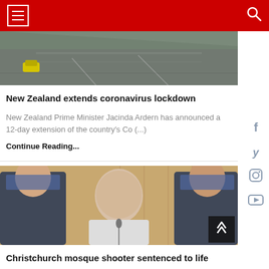Navigation header with hamburger menu and search icon
[Figure (photo): Aerial view of a road/highway with a yellow car visible, taken from above]
New Zealand extends coronavirus lockdown
New Zealand Prime Minister Jacinda Ardern has announced a 12-day extension of the country's Co (...)
Continue Reading...
[Figure (photo): Christchurch mosque shooter standing between two police officers in a courtroom, wearing a white shirt]
Christchurch mosque shooter sentenced to life